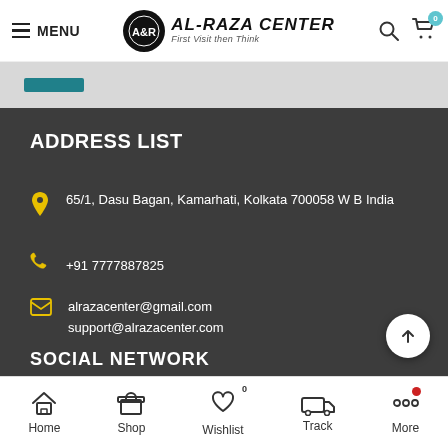MENU | AL-RAZA CENTER | First Visit then Think
[Figure (screenshot): Blue submit/action button on light grey background strip]
ADDRESS LIST
65/1, Dasu Bagan, Kamarhati, Kolkata 700058 W B India
+91 7777887825
alrazacenter@gmail.com
support@alrazacenter.com
SOCIAL NETWORK
Home | Shop | Wishlist 0 | Track | More